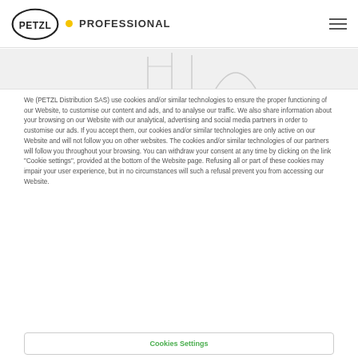PETZL PROFESSIONAL
[Figure (illustration): Partial line illustration of climbing/helmet equipment on a light gray banner background]
We (PETZL Distribution SAS) use cookies and/or similar technologies to ensure the proper functioning of our Website, to customise our content and ads, and to analyse our traffic. We also share information about your browsing on our Website with our analytical, advertising and social media partners in order to customise our ads. If you accept them, our cookies and/or similar technologies are only active on our Website and will not follow you on other websites. The cookies and/or similar technologies of our partners will follow you throughout your browsing. You can withdraw your consent at any time by clicking on the link "Cookie settings", provided at the bottom of the Website page. Refusing all or part of these cookies may impair your user experience, but in no circumstances will such a refusal prevent you from accessing our Website.
Cookies Settings